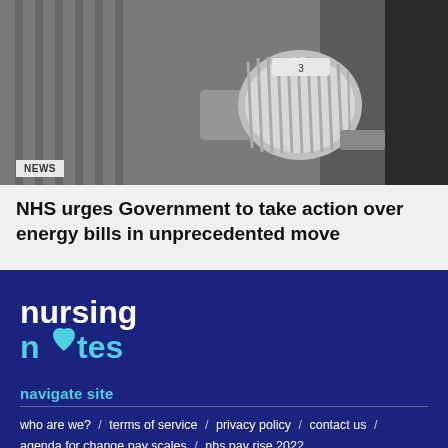[Figure (photo): Close-up photograph of a silver radiator thermostatic valve head, metallic knob with ridged grip, mounted on a radiator panel against a dark background.]
NEWS
NHS urges Government to take action over energy bills in unprecedented move
[Figure (logo): Nursing Notes logo - white 'nursing' text and cyan 'notes' text with a heart symbol replacing the 'o' in notes, on a dark blue background.]
navigate site
who are we?  /  terms of service  /  privacy policy  /  contact us  /
agenda for change pay scales  /  nhs pay rise 2022